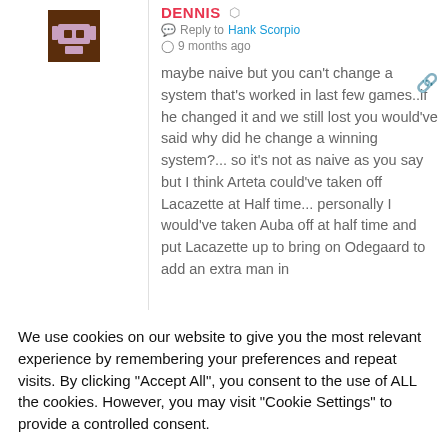DENNIS
Reply to Hank Scorpio
9 months ago
maybe naive but you can't change a system that's worked in last few games..if he changed it and we still lost you would've said why did he change a winning system?... so it's not as naive as you say but I think Arteta could've taken off Lacazette at Half time... personally I would've taken Auba off at half time and put Lacazette up to bring on Odegaard to add an extra man in
We use cookies on our website to give you the most relevant experience by remembering your preferences and repeat visits. By clicking "Accept All", you consent to the use of ALL the cookies. However, you may visit "Cookie Settings" to provide a controlled consent.
Cookie Settings
Accept All